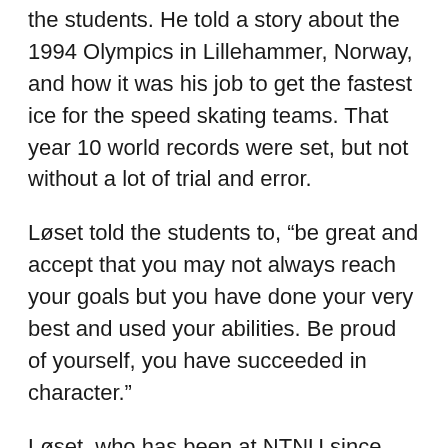the students. He told a story about the 1994 Olympics in Lillehammer, Norway, and how it was his job to get the fastest ice for the speed skating teams. That year 10 world records were set, but not without a lot of trial and error.
Løset told the students to, “be great and accept that you may not always reach your goals but you have done your very best and used your abilities. Be proud of yourself, you have succeeded in character.”
Løset, who has been at NTNU since 1995, serves as vice dean of research in the NTNU Faculty of Engineering. In addition, he is an adjunct professor at the University Centre in Svalbard and an honorary doctor of St. Petersburg State Polytechnical University.